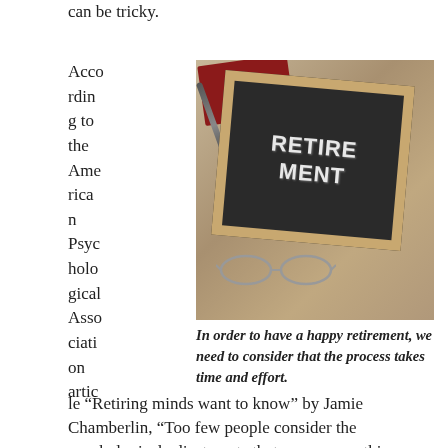can be tricky.
According to the American Psychological Association article “Retiring minds want to know” by Jamie Chamberlin, “Too few people consider the psychological adjustments that accompany this
[Figure (photo): A chalkboard with the word RETIREMENT written in chalk, surrounded by a wooden frame, with a red book, pen, and glasses visible around it on a wooden surface.]
In order to have a happy retirement, we need to consider that the process takes time and effort.
“Retiring minds want to know” by Jamie Chamberlin, “Too few people consider the psychological adjustments that accompany this